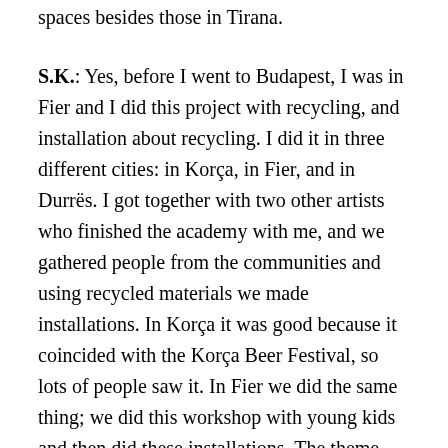spaces besides those in Tirana.
S.K.: Yes, before I went to Budapest, I was in Fier and I did this project with recycling, and installation about recycling. I did it in three different cities: in Korça, in Fier, and in Durrës. I got together with two other artists who finished the academy with me, and we gathered people from the communities and using recycled materials we made installations. In Korça it was good because it coincided with the Korça Beer Festival, so lots of people saw it. In Fier we did the same thing; we did this workshop with young kids and then did these installations. The theme was about the Roma community contributing to the environment in Albania. It was this way of showing that we